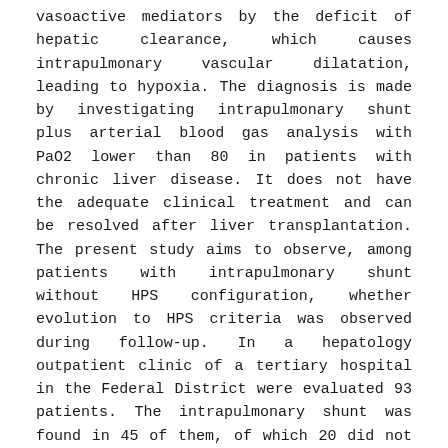vasoactive mediators by the deficit of hepatic clearance, which causes intrapulmonary vascular dilatation, leading to hypoxia. The diagnosis is made by investigating intrapulmonary shunt plus arterial blood gas analysis with PaO2 lower than 80 in patients with chronic liver disease. It does not have the adequate clinical treatment and can be resolved after liver transplantation. The present study aims to observe, among patients with intrapulmonary shunt without HPS configuration, whether evolution to HPS criteria was observed during follow-up. In a hepatology outpatient clinic of a tertiary hospital in the Federal District were evaluated 93 patients. The intrapulmonary shunt was found in 45 of them, of which 20 did not meet the criteria for HPS. In these patients, a new arterial blood gas analysis was requested after one year to assess whether there was a change in PaO2. Two died from complications of cirrhosis, five were lost follow-up, and 13 underwent the examination. Of those